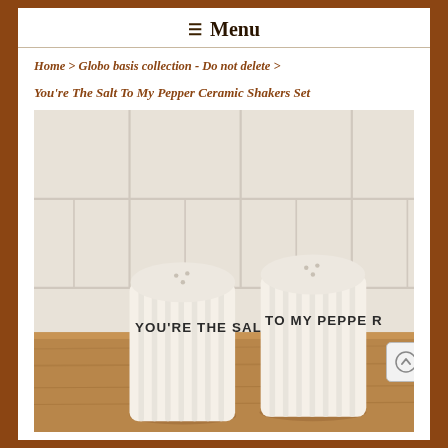☰ Menu
Home > Globo basis collection - Do not delete >
You're The Salt To My Pepper Ceramic Shakers Set
[Figure (photo): Two white ceramic ribbed salt and pepper shakers on a wooden board against a tiled background. Left shaker reads 'YOU'RE THE SALT', right shaker reads 'TO MY PEPPER'.]